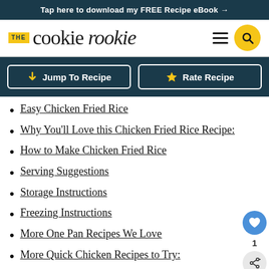Tap here to download my FREE Recipe eBook →
[Figure (logo): The Cookie Rookie logo with yellow THE badge, serif cookie rookie text, hamburger menu icon, and yellow search button]
Jump To Recipe
Rate Recipe
Easy Chicken Fried Rice
Why You'll Love this Chicken Fried Rice Recipe:
How to Make Chicken Fried Rice
Serving Suggestions
Storage Instructions
Freezing Instructions
More One Pan Recipes We Love
More Quick Chicken Recipes to Try:
Chicken Fried Rice Recipe